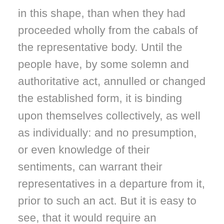in this shape, than when they had proceeded wholly from the cabals of the representative body. Until the people have, by some solemn and authoritative act, annulled or changed the established form, it is binding upon themselves collectively, as well as individually: and no presumption, or even knowledge of their sentiments, can warrant their representatives in a departure from it, prior to such an act. But it is easy to see, that it would require an uncommon portion of fortitude in the judges to do their duty as faithful guardians of the constitution, where legislative invasions of it had been instigated by the major voice of the community.